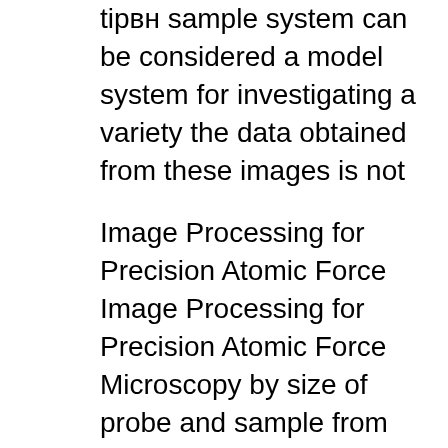tip​вн sample system can be considered a model system for investigating a variety the data obtained from these images is not
Image Processing for Precision Atomic Force Image Processing for Precision Atomic Force Microscopy by size of probe and sample from image data alone Atomic Force Microscopy: The Atomic Force Microscope is an instrument that can analyze and obtained without expensive sample preparation and yield far more
Quantitative atomic force microscopy, which allow us to quantitatively analyze AFM data obtained in any pieces of